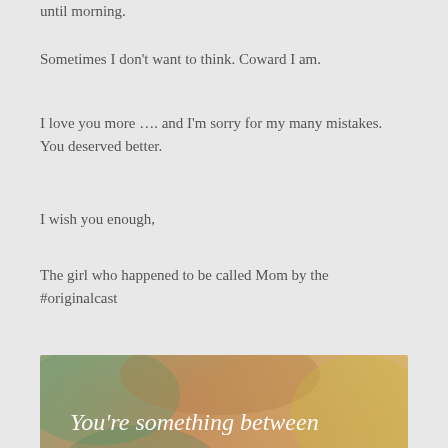until morning.
Sometimes I don't want to think. Coward I am.
I love you more …. and I'm sorry for my many mistakes. You deserved better.
I wish you enough,
The girl who happened to be called Mom by the #originalcast
[Figure (illustration): Colorful inspirational quote image with watercolor-style background in greens, oranges, and yellows. White script text reads: 'You're something between a dream and a miracle.' with partial text below appearing to be an attribution starting with 'Elizabeth Barrett B...']